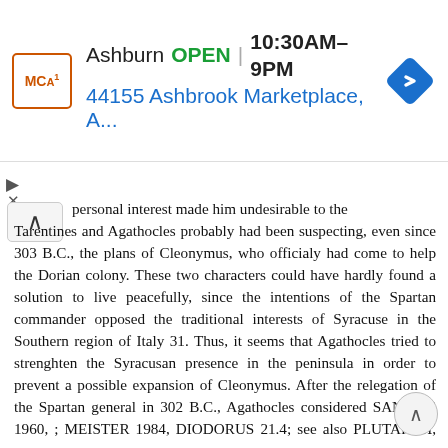[Figure (other): Advertisement banner showing MCA logo, Ashburn store OPEN 10:30AM-9PM, address 44155 Ashbrook Marketplace, A..., and a navigation arrow icon]
...attempts to have an alternative care for the same personal interest made him undesirable to the Tarentines and Agathocles probably had been suspecting, even since 303 B.C., the plans of Cleonymus, who officialy had come to help the Dorian colony. These two characters could have hardly found a solution to live peacefully, since the intentions of the Spartan commander opposed the traditional interests of Syracuse in the Southern region of Italy 31. Thus, it seems that Agathocles tried to strenghten the Syracusan presence in the peninsula in order to prevent a possible expansion of Cleonymus. After the relegation of the Spartan general in 302 B.C., Agathocles considered SANCTIS 1960, ; MEISTER 1984, DIODORUS 21.4; see also PLUTARCH, Pyrrhus 9.1, APPIAN, Samn CARY 1927, 634; cf. also MEISTER 1984, 406; GREEN 1990, DIODORUS DIODORUS About the presence of Cleonymus in Italy, see LIVY , DIODORUS FREEMAN 1894, ; TILLYARD 1908, ; LENSCHAU 1921, ;